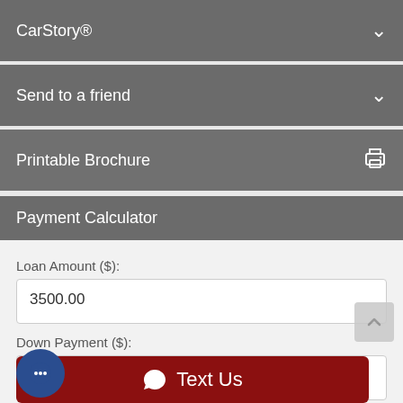CarStory®
Send to a friend
Printable Brochure
Payment Calculator
Loan Amount ($):
3500.00
Down Payment ($):
1000
APR (%):
Text Us